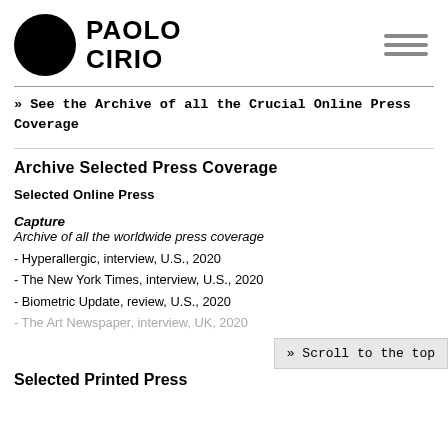[Figure (logo): Paolo Cirio logo with black circle and bold text 'PAOLO CIRIO']
» See the Archive of all the Crucial Online Press Coverage
Archive Selected Press Coverage
Selected Online Press
Capture
Archive of all the worldwide press coverage
- Hyperallergic, interview, U.S., 2020
- The New York Times, interview, U.S., 2020
- Biometric Update, review, U.S., 2020
- The Art Newspaper, interview, UK, 2020
» Scroll to the top
Selected Printed Press